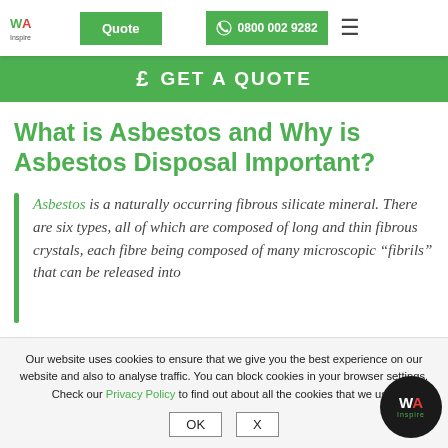WA Inspire | Quote | 0800 002 9282
[Figure (screenshot): Green GET A QUOTE banner with pound sign icon]
What is Asbestos and Why is Asbestos Disposal Important?
Asbestos is a naturally occurring fibrous silicate mineral. There are six types, all of which are composed of long and thin fibrous crystals, each fibre being composed of many microscopic "fibrils" that can be released into
Our website uses cookies to ensure that we give you the best experience on our website and also to analyse traffic. You can block cookies in your browser settings. Check our Privacy Policy to find out about all the cookies that we use.